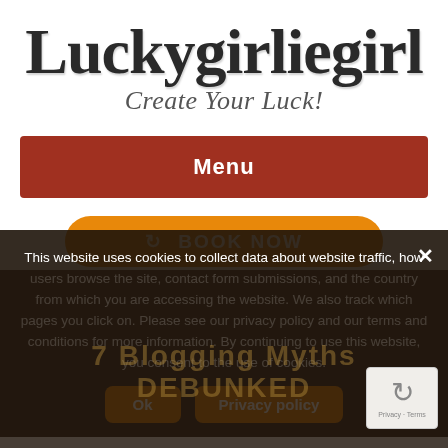Luckygirliegirl
Create Your Luck!
Menu
[Figure (other): Orange rounded BOOK NOW button with circular arrow icon]
7 Blogging Myths DEBUNKED
This website uses cookies to collect data about website traffic, how users browse the site, contact form submissions, and the country from which you are accessing the website. We also track which pages you click on. Please see our privacy policy and our terms and conditions for more information. By continuing to use this website, you consent to the use of cookies.
Ok
Privacy policy